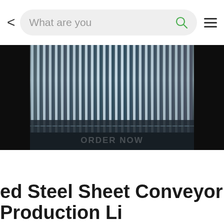< What are you [search bar with search icon and menu icon]
[Figure (photo): Close-up photo of a corrugated/ribbed steel sheet conveyor belt component, showing metallic ridged surface with dark background. An 'ORDER NOW' button overlay is visible at the bottom of the image.]
ed Steel Sheet Conveyor Belt C
Production Li...